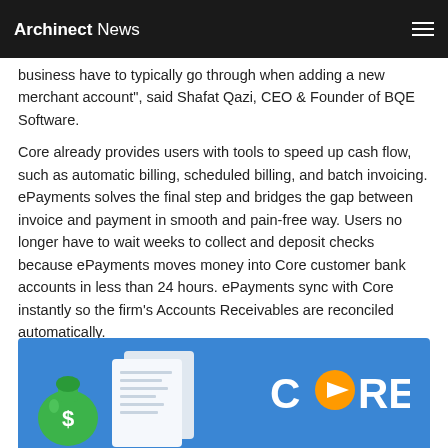Archinect News
business have to typically go through when adding a new merchant account", said Shafat Qazi, CEO & Founder of BQE Software.
Core already provides users with tools to speed up cash flow, such as automatic billing, scheduled billing, and batch invoicing. ePayments solves the final step and bridges the gap between invoice and payment in smooth and pain-free way. Users no longer have to wait weeks to collect and deposit checks because ePayments moves money into Core customer bank accounts in less than 24 hours. ePayments sync with Core instantly so the firm's Accounts Receivables are reconciled automatically.
[Figure (illustration): Blue promotional graphic showing a money bag with dollar sign, invoice/document stack, and the CORE logo with orange play button icon on blue background]